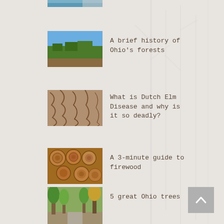[Figure (photo): Partial view of a thumbnail image at top (cropped), appears to be a water/outdoor scene]
[Figure (photo): Aerial view of Ohio forests with green treetops and blue sky]
A brief history of Ohio's forests
[Figure (photo): Close-up of tree bark showing texture, possibly elm tree affected by Dutch Elm Disease]
What is Dutch Elm Disease and why is it so deadly?
[Figure (photo): Stack of cut firewood logs showing cross sections]
A 3-minute guide to firewood
[Figure (photo): Street lined with tall Ohio trees in autumn colors, with a path and parked cars visible]
5 great Ohio trees